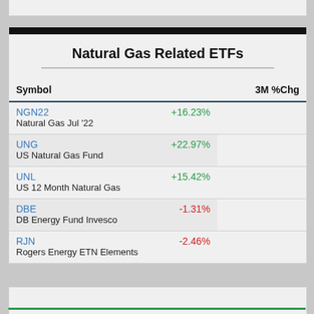Natural Gas Related ETFs
| Symbol | 3M %Chg |
| --- | --- |
| NGN22 / Natural Gas Jul '22 | +16.23% |
| UNG / US Natural Gas Fund | +22.97% |
| UNL / US 12 Month Natural Gas | +15.42% |
| DBE / DB Energy Fund Invesco | -1.31% |
| RJN / Rogers Energy ETN Elements | -2.46% |